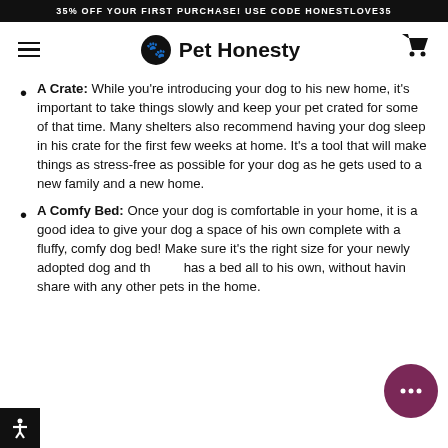35% OFF YOUR FIRST PURCHASE! USE CODE HONESTLOVE35
[Figure (logo): Pet Honesty logo with navigation bar showing hamburger menu, Pet Honesty logo with dog icon, and shopping cart icon]
A Crate: While you're introducing your dog to his new home, it's important to take things slowly and keep your pet crated for some of that time. Many shelters also recommend having your dog sleep in his crate for the first few weeks at home. It's a tool that will make things as stress-free as possible for your dog as he gets used to a new family and a new home.
A Comfy Bed: Once your dog is comfortable in your home, it is a good idea to give your dog a space of his own complete with a fluffy, comfy dog bed! Make sure it's the right size for your newly adopted dog and that he has a bed all to his own, without having to share with any other pets in the home.